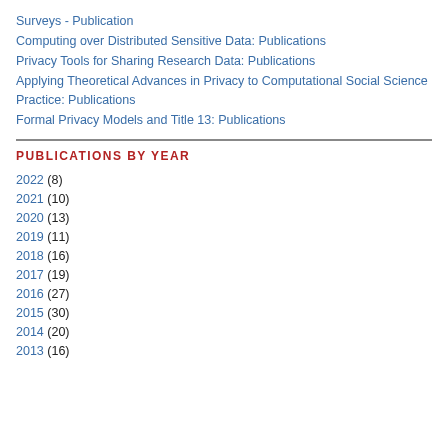Surveys - Publication
Computing over Distributed Sensitive Data: Publications
Privacy Tools for Sharing Research Data: Publications
Applying Theoretical Advances in Privacy to Computational Social Science Practice: Publications
Formal Privacy Models and Title 13: Publications
PUBLICATIONS BY YEAR
2022 (8)
2021 (10)
2020 (13)
2019 (11)
2018 (16)
2017 (19)
2016 (27)
2015 (30)
2014 (20)
2013 (16)